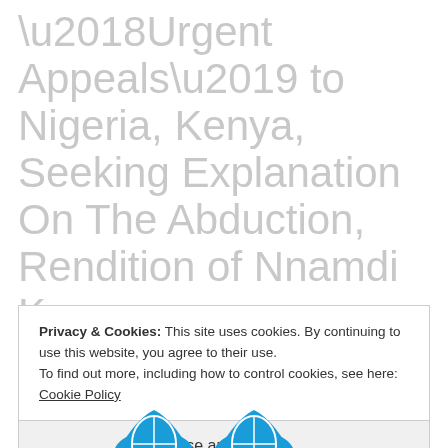‘Urgent Appeals’ to Nigeria, Kenya, Seeking Explanation On The Abduction, Rendition of Nnamdi Kanu.
Privacy & Cookies: This site uses cookies. By continuing to use this website, you agree to their use.
To find out more, including how to control cookies, see here: Cookie Policy
Close and accept
[Figure (logo): UN or international organization logo in blue, partially visible at the bottom of the page]